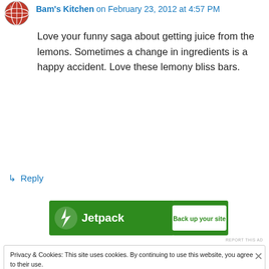Bam's Kitchen on February 23, 2012 at 4:57 PM
Love your funny saga about getting juice from the lemons. Sometimes a change in ingredients is a happy accident. Love these lemony bliss bars.
↳ Reply
[Figure (infographic): Jetpack advertisement banner with green background, lightning bolt icon, Jetpack text, and 'Back up your site' white button]
REPORT THIS AD
Privacy & Cookies: This site uses cookies. By continuing to use this website, you agree to their use. To find out more, including how to control cookies, see here: Cookie Policy Close and accept